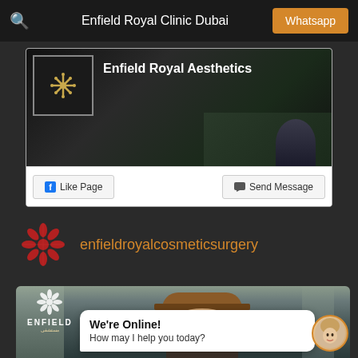Enfield Royal Clinic Dubai | Whatsapp
[Figure (screenshot): Facebook page widget for Enfield Royal Aesthetics with Like Page and Send Message buttons]
enfieldroyalcosmeticsurgery
[Figure (photo): Woman wearing a brown hat outdoors, with Enfield Royal Clinic logo overlay and a live chat bubble saying 'We're Online! How may I help you today?']